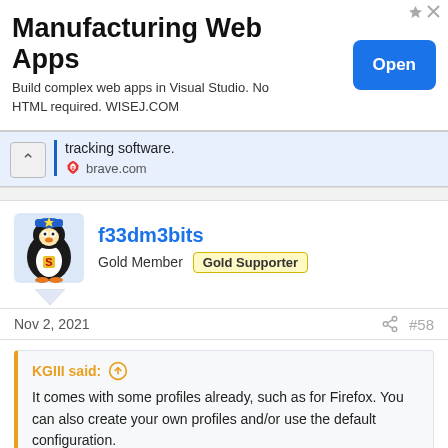[Figure (screenshot): Advertisement banner for WISEJ.COM - Manufacturing Web Apps. Shows title 'Manufacturing Web Apps', subtitle 'Build complex web apps in Visual Studio. No HTML required. WISEJ.COM', and a blue 'Open' button.]
tracking software.
brave.com
f33dm3bits
Gold Member   Gold Supporter
Nov 2, 2021
#58
KGIII said:
It comes with some profiles already, such as for Firefox. You can also create your own profiles and/or use the default configuration.
Firefox Multi-Account Containers – Get this Exte…
Download Firefox Multi-Account Containers for Firefox. Firefox Multi-Account Containers lets you keep parts of your online life separated into color-coded tabs. Cookies are separated by